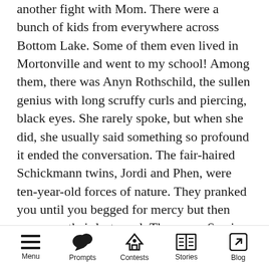another fight with Mom. There were a bunch of kids from everywhere across Bottom Lake. Some of them even lived in Mortonville and went to my school! Among them, there was Anyn Rothschild, the sullen genius with long scruffy curls and piercing, black eyes. She rarely spoke, but when she did, she usually said something so profound it ended the conversation. The fair-haired Schickmann twins, Jordi and Phen, were ten-year-old forces of nature. They pranked you until you begged for mercy but then gave you their last meal. There was Samira, who sang better than angels, and Billy, the jock from South Bottoms with good looks and a bad attitude. They all had different stories to tell, but they all
Menu | Prompts | Contests | Stories | Blog